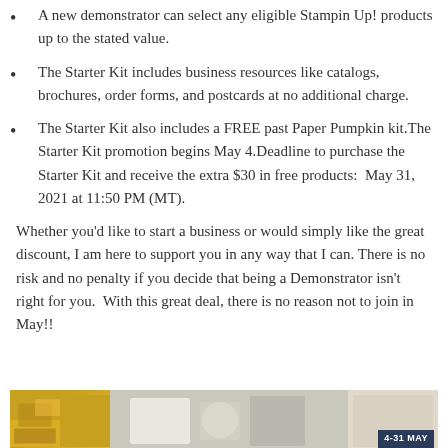A new demonstrator can select any eligible Stampin Up! products up to the stated value.
The Starter Kit includes business resources like catalogs, brochures, order forms, and postcards at no additional charge.
The Starter Kit also includes a FREE past Paper Pumpkin kit.The Starter Kit promotion begins May 4.Deadline to purchase the Starter Kit and receive the extra $30 in free products:  May 31, 2021 at 11:50 PM (MT).
Whether you'd like to start a business or would simply like the great discount, I am here to support you in any way that I can. There is no risk and no penalty if you decide that being a Demonstrator isn't right for you.  With this great deal, there is no reason not to join in May!!
[Figure (photo): A promotional image strip showing Stampin' Up! products with a yellow/gold background on the left, craft supplies in the middle, and a dark blue date badge reading '4-31 MAY' on the right.]